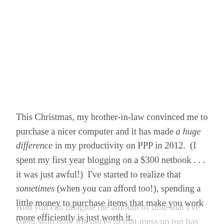This Christmas, my brother-in-law convinced me to purchase a nicer computer and it has made a huge difference in my productivity on PPP in 2012.  (I spent my first year blogging on a $300 netbook . . . it was just awful!)  I've started to realize that sometimes (when you can afford too!), spending a little money to purchase items that make you work more efficiently is just worth it.
And you can imagine the amount of time that I've spent searching for spices in that mess up top has definitely hurt